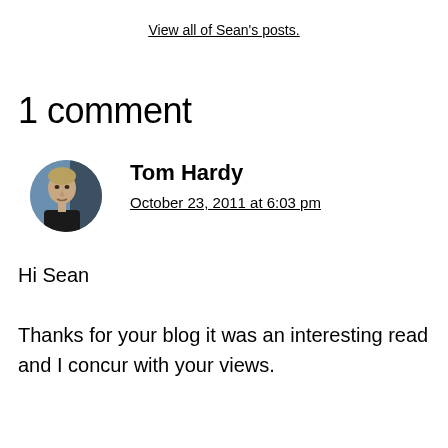View all of Sean's posts.
1 comment
Tom Hardy
October 23, 2011 at 6:03 pm
Hi Sean
Thanks for your blog it was an interesting read and I concur with your views.